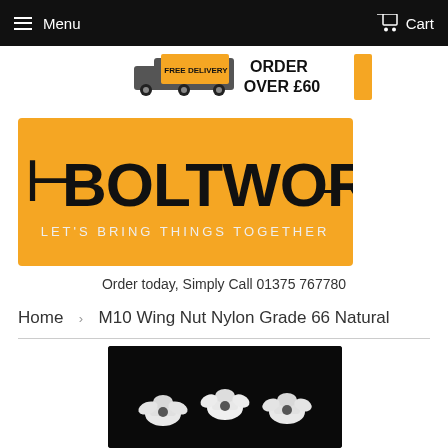Menu  Cart
[Figure (infographic): Free Delivery - Order Over £60 banner with truck icon]
[Figure (logo): Boltworld logo - orange background with bolt graphic and text LET'S BRING THINGS TOGETHER]
Order today, Simply Call 01375 767780
Home › M10 Wing Nut Nylon Grade 66 Natural
[Figure (photo): White nylon wing nuts on black background]